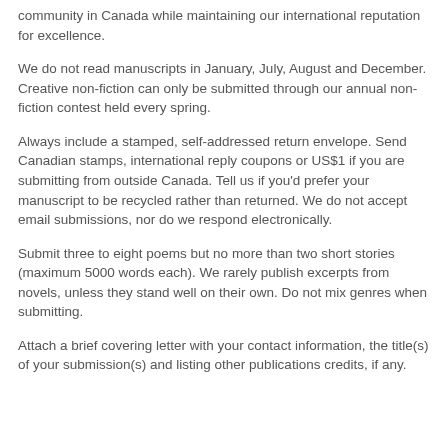community in Canada while maintaining our international reputation for excellence.
We do not read manuscripts in January, July, August and December. Creative non-fiction can only be submitted through our annual non-fiction contest held every spring.
Always include a stamped, self-addressed return envelope. Send Canadian stamps, international reply coupons or US$1 if you are submitting from outside Canada. Tell us if you'd prefer your manuscript to be recycled rather than returned. We do not accept email submissions, nor do we respond electronically.
Submit three to eight poems but no more than two short stories (maximum 5000 words each). We rarely publish excerpts from novels, unless they stand well on their own. Do not mix genres when submitting.
Attach a brief covering letter with your contact information, the title(s) of your submission(s) and listing other publications credits, if any.